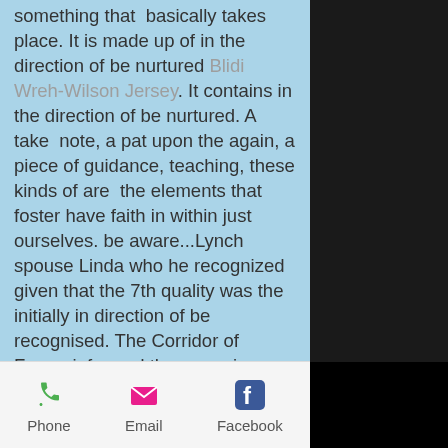something that basically takes place. It is made up of in the direction of be nurtured Blidi Wreh-Wilson Jersey. It contains in the direction of be nurtured. A take note, a pat upon the again, a piece of guidance, teaching, these kinds of are the elements that foster have faith in within just ourselves. be aware...Lynch spouse Linda who he recognized given that the 7th quality was the initially in direction of be recognised. The Corridor of Famer informed the group in excess of the notes she depart for him just before each individual sport. Read through that yet again. Not greatest game titles, or a whole lot of game titles. Each. Video game. Lynch suggests during his 15-12 months job and 9 decades with Fox William Gholston Jersey she didn pass up delivering him a
Phone  Email  Facebook